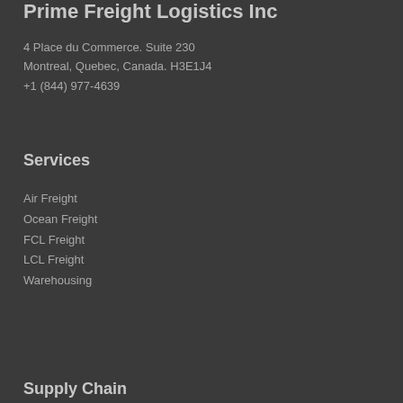Prime Freight Logistics Inc
4 Place du Commerce. Suite 230
Montreal, Quebec, Canada. H3E1J4
+1 (844) 977-4639
Services
Air Freight
Ocean Freight
FCL Freight
LCL Freight
Warehousing
Supply Chain